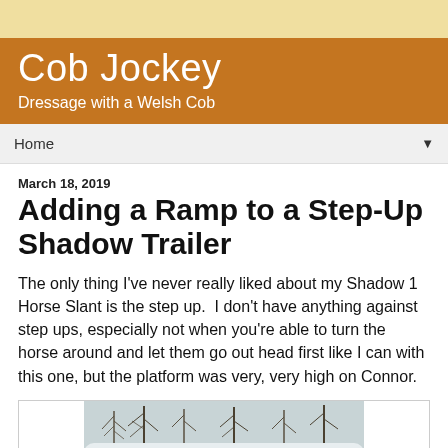Cob Jockey — Dressage with a Welsh Cob
Adding a Ramp to a Step-Up Shadow Trailer
March 18, 2019
The only thing I've never really liked about my Shadow 1 Horse Slant is the step up.  I don't have anything against step ups, especially not when you're able to turn the horse around and let them go out head first like I can with this one, but the platform was very, very high on Connor.
[Figure (photo): Photo of a white horse trailer (Shadow brand) with bare winter trees in the background and snow on the ground.]